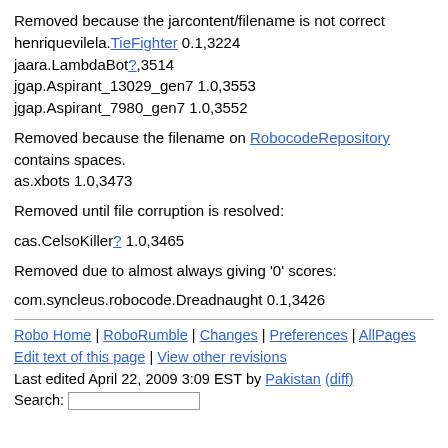Removed because the jarcontent/filename is not correct henriquevilela.TieFighter 0.1,3224 jaara.LambdaBot? 3514 jgap.Aspirant_13029_gen7 1.0,3553 jgap.Aspirant_7980_gen7 1.0,3552
Removed because the filename on RobocodeRepository contains spaces. as.xbots 1.0,3473
Removed until file corruption is resolved:
cas.CelsoKiller? 1.0,3465
Removed due to almost always giving '0' scores:
com.syncleus.robocode.Dreadnaught 0.1,3426
Robo Home | RoboRumble | Changes | Preferences | AllPages Edit text of this page | View other revisions Last edited April 22, 2009 3:09 EST by Pakistan (diff) Search: